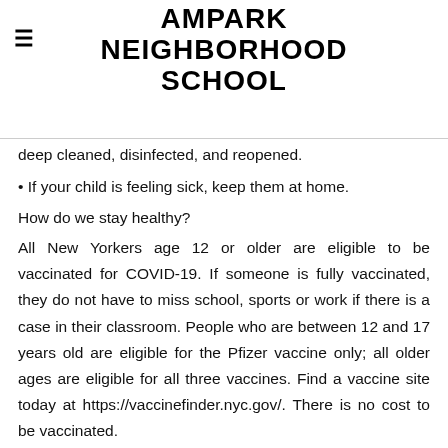AMPARK NEIGHBORHOOD SCHOOL
deep cleaned, disinfected, and reopened.
• If your child is feeling sick, keep them at home.
How do we stay healthy?
All New Yorkers age 12 or older are eligible to be vaccinated for COVID-19. If someone is fully vaccinated, they do not have to miss school, sports or work if there is a case in their classroom. People who are between 12 and 17 years old are eligible for the Pfizer vaccine only; all older ages are eligible for all three vaccines. Find a vaccine site today at https://vaccinefinder.nyc.gov/. There is no cost to be vaccinated.